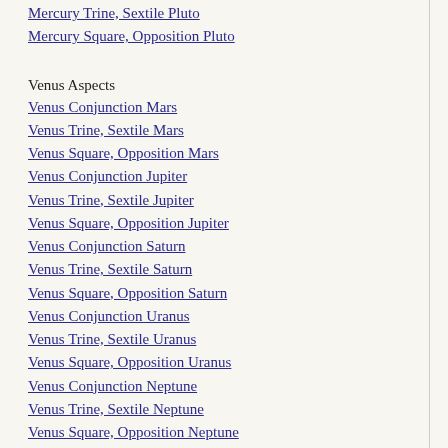Mercury Trine, Sextile Pluto
Mercury Square, Opposition Pluto
Venus Aspects
Venus Conjunction Mars
Venus Trine, Sextile Mars
Venus Square, Opposition Mars
Venus Conjunction Jupiter
Venus Trine, Sextile Jupiter
Venus Square, Opposition Jupiter
Venus Conjunction Saturn
Venus Trine, Sextile Saturn
Venus Square, Opposition Saturn
Venus Conjunction Uranus
Venus Trine, Sextile Uranus
Venus Square, Opposition Uranus
Venus Conjunction Neptune
Venus Trine, Sextile Neptune
Venus Square, Opposition Neptune
Venus Conjunction Pluto
Venus Trine, Sextile Pluto
Venus Square, Opposition Pluto
Mars Aspects
Mars Conjunction Jupiter